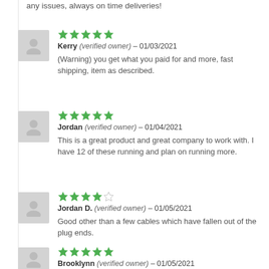any issues, always on time deliveries!
Kerry (verified owner) – 01/03/2021
(Warning) you get what you paid for and more, fast shipping, item as described.
Jordan (verified owner) – 01/04/2021
This is a great product and great company to work with. I have 12 of these running and plan on running more.
Jordan D. (verified owner) – 01/05/2021
Good other than a few cables which have fallen out of the plug ends.
Brooklynn (verified owner) – 01/05/2021